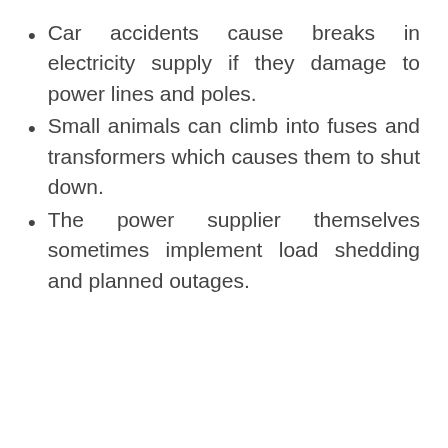Car accidents cause breaks in electricity supply if they damage to power lines and poles.
Small animals can climb into fuses and transformers which causes them to shut down.
The power supplier themselves sometimes implement load shedding and planned outages.